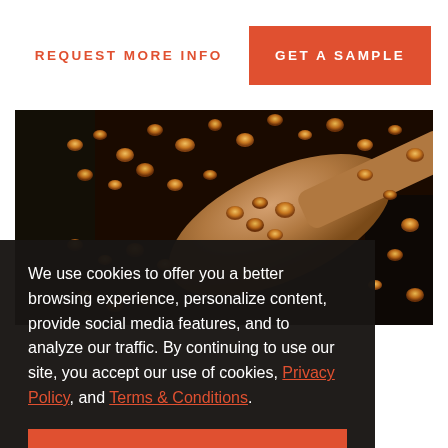REQUEST MORE INFO
GET A SAMPLE
[Figure (photo): Close-up photo of golden-amber resin granules or seeds with a wooden spoon, on a dark background]
We use cookies to offer you a better browsing experience, personalize content, provide social media features, and to analyze our traffic. By continuing to use our site, you accept our use of cookies, Privacy Policy, and Terms & Conditions.
Allow Cookies